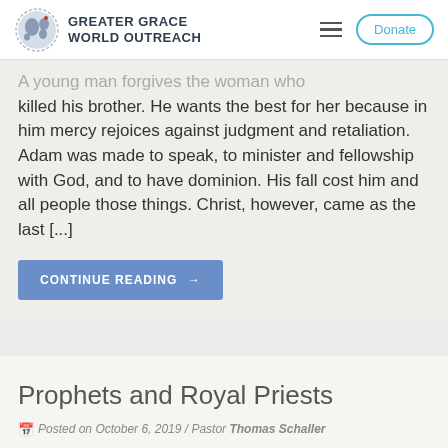GREATER GRACE WORLD OUTREACH
A young man forgives the woman who killed his brother. He wants the best for her because in him mercy rejoices against judgment and retaliation. Adam was made to speak, to minister and fellowship with God, and to have dominion. His fall cost him and all people those things. Christ, however, came as the last [...]
CONTINUE READING →
Prophets and Royal Priests
Posted on October 6, 2019 / Pastor Thomas Schaller